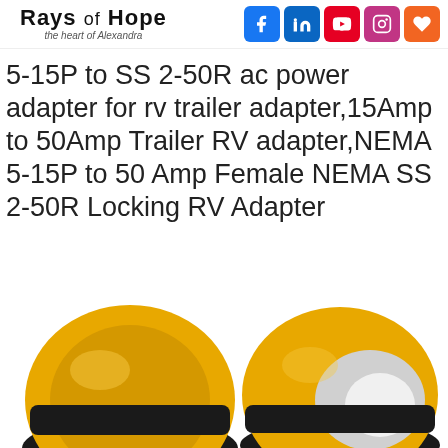Rays of Hope — the heart of Alexandra
5-15P to SS 2-50R ac power adapter for rv trailer adapter,15Amp to 50Amp Trailer RV adapter,NEMA 5-15P to 50 Amp Female NEMA SS 2-50R Locking RV Adapter
[Figure (photo): Two yellow and black NEMA locking RV power adapter connectors shown side by side on white background]